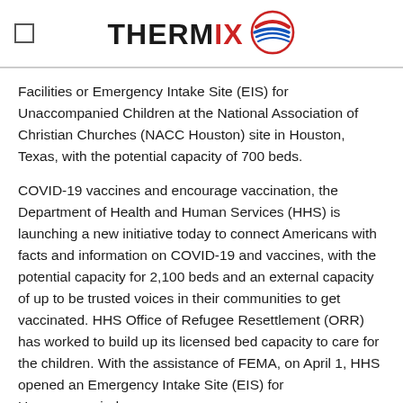THERMIX [logo]
Facilities or Emergency Intake Site (EIS) for Unaccompanied Children at the National Association of Christian Churches (NACC Houston) site in Houston, Texas, with the potential capacity of 700 beds.
COVID-19 vaccines and encourage vaccination, the Department of Health and Human Services (HHS) is launching a new initiative today to connect Americans with facts and information on COVID-19 and vaccines, with the potential capacity for 2,100 beds and an external capacity of up to be trusted voices in their communities to get vaccinated. HHS Office of Refugee Resettlement (ORR) has worked to build up its licensed bed capacity to care for the children. With the assistance of FEMA, on April 1, HHS opened an Emergency Intake Site (EIS) for Unaccompanied